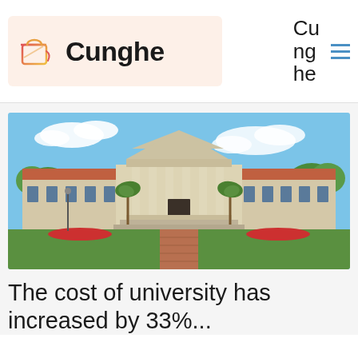[Figure (logo): Cunghe logo with paint bucket icon on beige background]
Cunghe
Cunghe
[Figure (photo): Photo of a neoclassical university building with columns, red-tiled roof wings, palm trees, red flower beds, and a brick pathway on a sunny day]
The cost of university has increased by 33%...